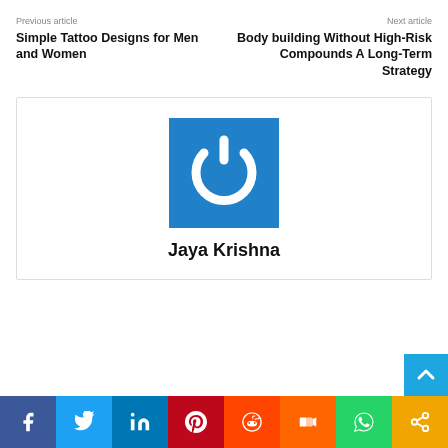Previous article
Simple Tattoo Designs for Men and Women
Next article
Body building Without High-Risk Compounds A Long-Term Strategy
[Figure (logo): Blue square with white power button icon — author avatar for Jaya Krishna]
Jaya Krishna